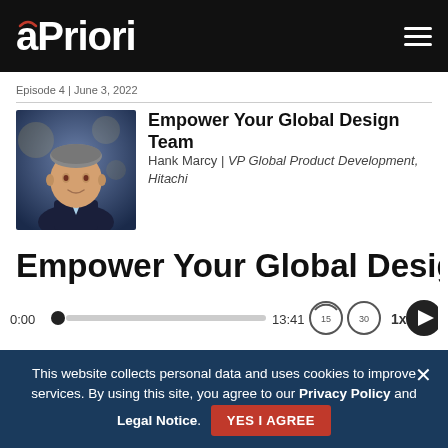aPriori
Episode 4 | June 3, 2022
[Figure (photo): Headshot of Hank Marcy, a middle-aged man in a suit with a blue/purple background]
Empower Your Global Design Team
Hank Marcy | VP Global Product Development, Hitachi
Empower Your Global Design Tear
[Figure (other): Audio player showing 0:00 current time, 13:41 total duration, skip back 15s, skip forward 30s, 1x speed, and play button]
This website collects personal data and uses cookies to improve services. By using this site, you agree to our Privacy Policy and Legal Notice.